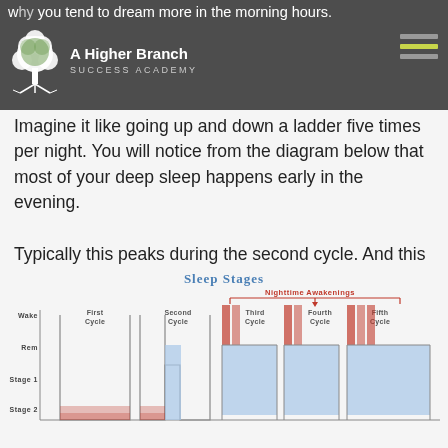why you tend to dream more in the morning hours. A Higher Branch SUCCESS ACADEMY
Imagine it like going up and down a ladder five times per night. You will notice from the diagram below that most of your deep sleep happens early in the evening.
Typically this peaks during the second cycle. And this is when you go into a state of autophagy (promotes longevity) and experience a surge of human growth hormones (promotes youth).
[Figure (infographic): Sleep Stages diagram showing five sleep cycles across the night with Wake, REM, Stage 1, Stage 2 levels on the y-axis. First and Second cycles have no nighttime awakenings; Third, Fourth, and Fifth cycles show Nighttime Awakenings in red. Blue shaded bars indicate REM sleep depth per cycle.]